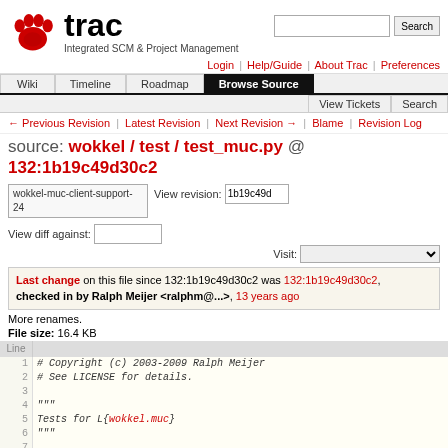[Figure (logo): Trac logo with red paw print and text 'trac Integrated SCM & Project Management']
Login | Help/Guide | About Trac | Preferences
Wiki | Timeline | Roadmap | Browse Source | View Tickets | Search
← Previous Revision | Latest Revision | Next Revision → | Blame | Revision Log
source: wokkel / test / test_muc.py @ 132:1b19c49d30c2
wokkel-muc-client-support-24  View revision: 1b19c49d  View diff against:  Visit:
Last change on this file since 132:1b19c49d30c2 was 132:1b19c49d30c2, checked in by Ralph Meijer <ralphm@...>, 13 years ago
More renames.
File size: 16.4 KB
| Line |  |
| --- | --- |
| 1 | # Copyright (c) 2003-2009 Ralph Meijer |
| 2 | # See LICENSE for details. |
| 3 |  |
| 4 | """ |
| 5 | Tests for L{wokkel.muc} |
| 6 | """ |
| 7 |  |
| 8 | from zope.interface import verify |